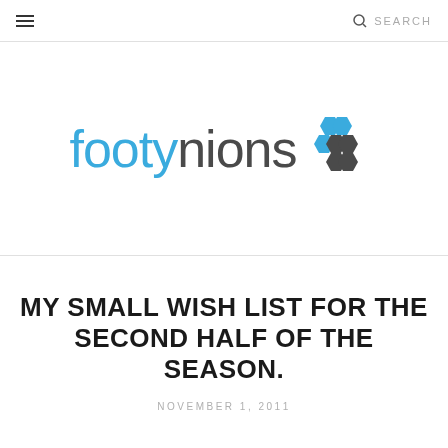☰  SEARCH
[Figure (logo): Footynions logo: the word 'footy' in light blue and 'nions' in dark grey, followed by a hexagonal cluster icon in blue and dark grey]
MY SMALL WISH LIST FOR THE SECOND HALF OF THE SEASON.
NOVEMBER 1, 2011